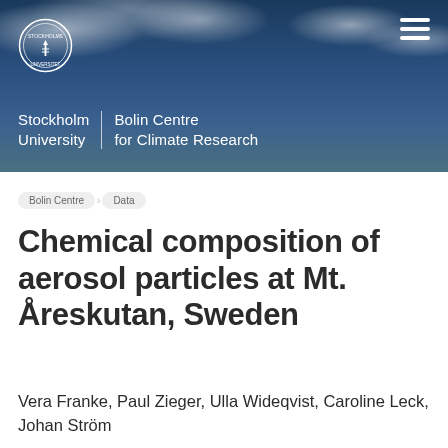[Figure (photo): Stockholm University Bolin Centre for Climate Research website header banner with cloudy sky background, university logo (circular seal), hamburger menu icon top right, and institution name text in white]
Bolin Centre  Data
Chemical composition of aerosol particles at Mt. Åreskutan, Sweden
Vera Franke, Paul Zieger, Ulla Wideqvist, Caroline Leck, Johan Ström